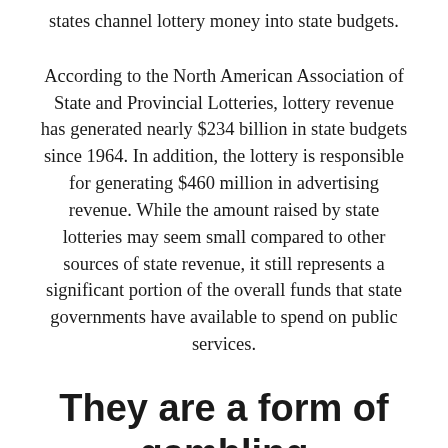states channel lottery money into state budgets.
According to the North American Association of State and Provincial Lotteries, lottery revenue has generated nearly $234 billion in state budgets since 1964. In addition, the lottery is responsible for generating $460 million in advertising revenue. While the amount raised by state lotteries may seem small compared to other sources of state revenue, it still represents a significant portion of the overall funds that state governments have available to spend on public services.
They are a form of gambling
Some people argue that lotteries are just another form of gambling, but lottery supporters argue that they are